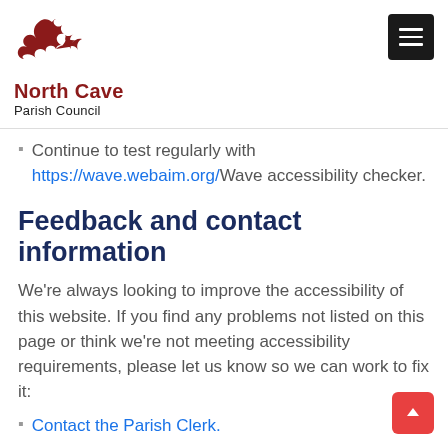[Figure (logo): North Cave Parish Council logo with red bird/feather icon and text]
Continue to test regularly with https://wave.webaim.org/ Wave accessibility checker.
Feedback and contact information
We're always looking to improve the accessibility of this website. If you find any problems not listed on this page or think we're not meeting accessibility requirements, please let us know so we can work to fix it:
Contact the Parish Clerk.